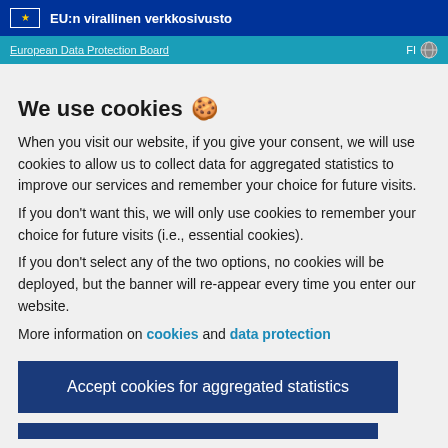EU:n virallinen verkkosivusto
European Data Protection Board  FI
We use cookies 🍪
When you visit our website, if you give your consent, we will use cookies to allow us to collect data for aggregated statistics to improve our services and remember your choice for future visits.
If you don't want this, we will only use cookies to remember your choice for future visits (i.e., essential cookies).
If you don't select any of the two options, no cookies will be deployed, but the banner will re-appear every time you enter our website.
More information on cookies and data protection
Accept cookies for aggregated statistics